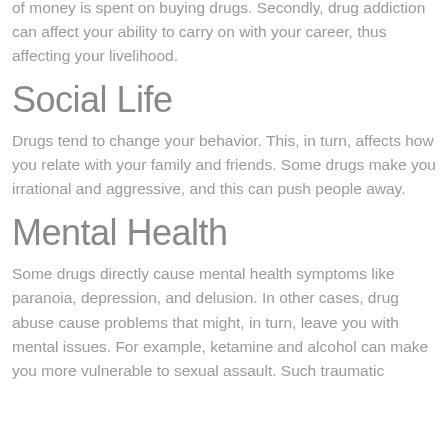Drug addiction services to serious financial problem. A lot of money is spent on buying drugs. Secondly, drug addiction can affect your ability to carry on with your career, thus affecting your livelihood.
Social Life
Drugs tend to change your behavior. This, in turn, affects how you relate with your family and friends. Some drugs make you irrational and aggressive, and this can push people away.
Mental Health
Some drugs directly cause mental health symptoms like paranoia, depression, and delusion. In other cases, drug abuse cause problems that might, in turn, leave you with mental issues. For example, ketamine and alcohol can make you more vulnerable to sexual assault. Such traumatic